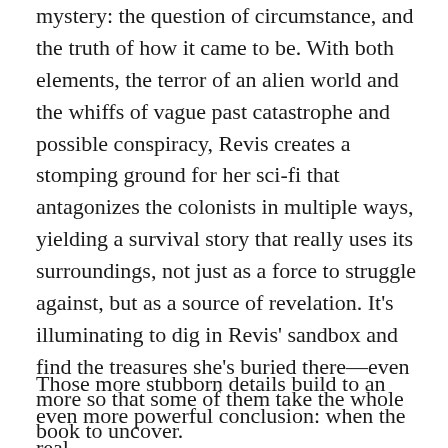mystery: the question of circumstance, and the truth of how it came to be. With both elements, the terror of an alien world and the whiffs of vague past catastrophe and possible conspiracy, Revis creates a stomping ground for her sci-fi that antagonizes the colonists in multiple ways, yielding a survival story that really uses its surroundings, not just as a force to struggle against, but as a source of revelation. It's illuminating to dig in Revis' sandbox and find the treasures she's buried there––even more so that some of them take the whole book to uncover.
Those more stubborn details build to an even more powerful conclusion: when the real